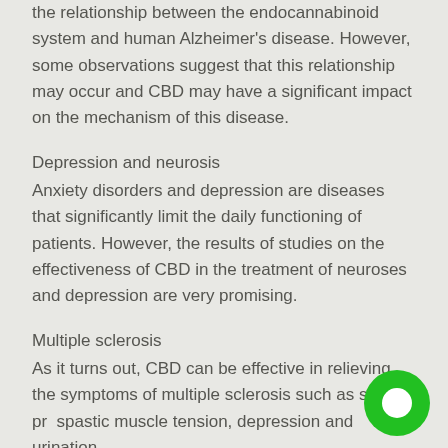the relationship between the endocannabinoid system and human Alzheimer's disease. However, some observations suggest that this relationship may occur and CBD may have a significant impact on the mechanism of this disease.
Depression and neurosis
Anxiety disorders and depression are diseases that significantly limit the daily functioning of patients. However, the results of studies on the effectiveness of CBD in the treatment of neuroses and depression are very promising.
Multiple sclerosis
As it turns out, CBD can be effective in relieving the symptoms of multiple sclerosis such as sleep pr… spastic muscle tension, depression and urination problems. Therefore, the use of cannabidiol can positively